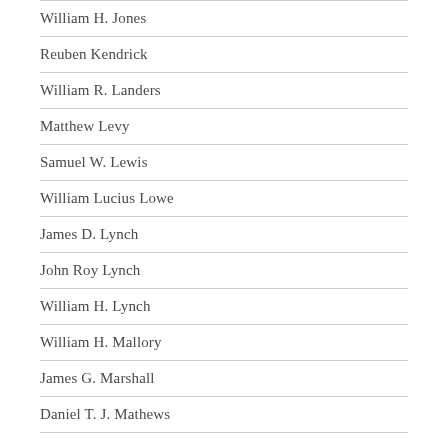William H. Jones
Reuben Kendrick
William R. Landers
Matthew Levy
Samuel W. Lewis
William Lucius Lowe
James D. Lynch
John Roy Lynch
William H. Lynch
William H. Mallory
James G. Marshall
Daniel T. J. Mathews